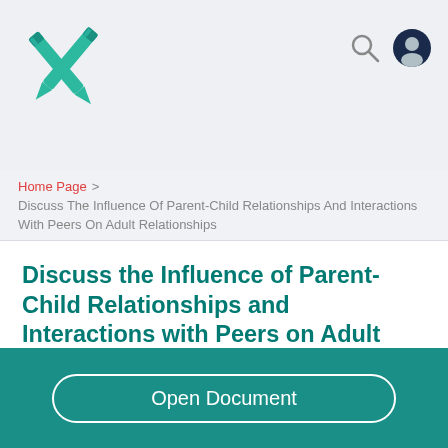[Figure (logo): Green X-shaped crossed pencils logo]
[Figure (other): Search icon (magnifying glass) and user account icon in header]
Home Page > Discuss The Influence Of Parent-Child Relationships And Interactions With Peers On Adult Relationships
Discuss the Influence of Parent-Child Relationships and Interactions with Peers on Adult Relationships
725 Words  •  3 Pages
Open Document